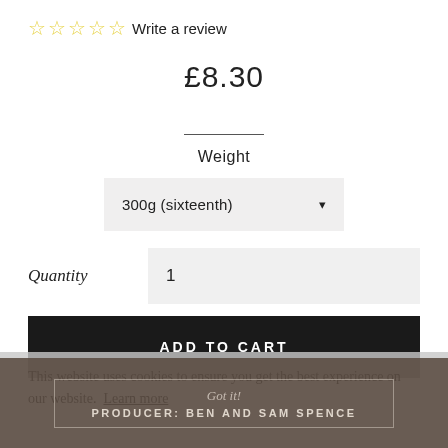☆☆☆☆☆ Write a review
£8.30
Weight
300g (sixteenth) ▾
Quantity  1
ADD TO CART
This website uses cookies to ensure you get the best experience on our website. Learn more
Got it!
PRODUCER: BEN AND SAM SPENCE